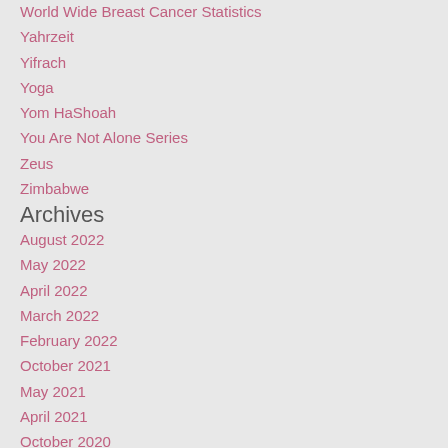World Wide Breast Cancer Statistics
Yahrzeit
Yifrach
Yoga
Yom HaShoah
You Are Not Alone Series
Zeus
Zimbabwe
Archives
August 2022
May 2022
April 2022
March 2022
February 2022
October 2021
May 2021
April 2021
October 2020
August 2020